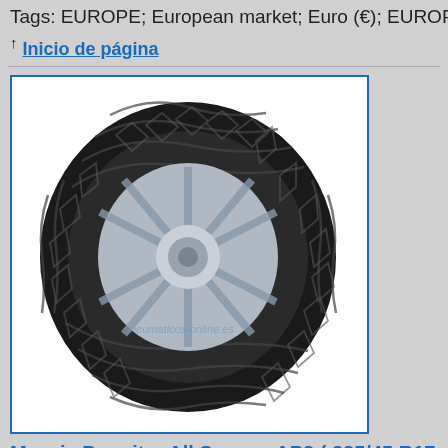Tags: EUROPE; European market; Euro (€); EUROP…
↑ Inicio de página
[Figure (photo): Photo of a Maxxis Premitra All Season AP3 tire, showing the tread pattern and alloy wheel. Watermark text 'neumaticos-online.es' visible on the image.]
Maxxis Premitra All Season AP3 ( 235/45 R17 97W
Neumáticos para todas las estaciones